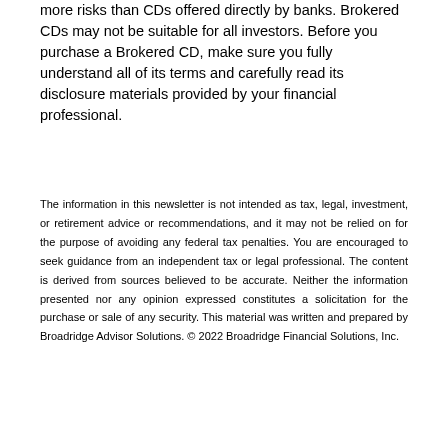Brokered CDs are more complex and carry more risks than CDs offered directly by banks. Brokered CDs may not be suitable for all investors. Before you purchase a Brokered CD, make sure you fully understand all of its terms and carefully read its disclosure materials provided by your financial professional.
The information in this newsletter is not intended as tax, legal, investment, or retirement advice or recommendations, and it may not be relied on for the purpose of avoiding any federal tax penalties. You are encouraged to seek guidance from an independent tax or legal professional. The content is derived from sources believed to be accurate. Neither the information presented nor any opinion expressed constitutes a solicitation for the purchase or sale of any security. This material was written and prepared by Broadridge Advisor Solutions. © 2022 Broadridge Financial Solutions, Inc.